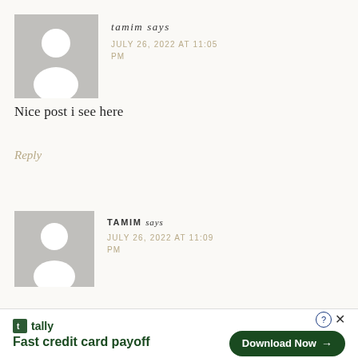[Figure (illustration): Gray placeholder avatar with white silhouette of a person (head and shoulders)]
tamim says
JULY 26, 2022 AT 11:05 PM
Nice post i see here
Reply
[Figure (illustration): Gray placeholder avatar with white silhouette of a person (head and shoulders), smaller/cropped]
TAMIM says
JULY 26, 2022 AT 11:09 PM
[Figure (other): Tally advertisement banner: 'Fast credit card payoff' with Download Now button]